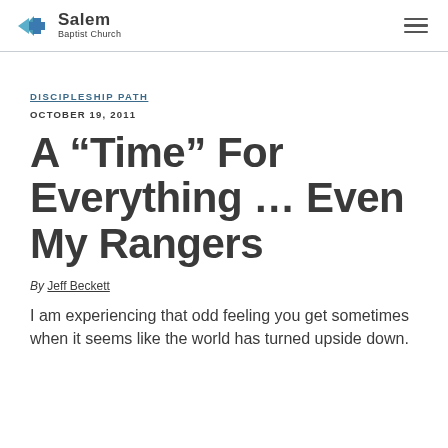Salem Baptist Church
DISCIPLESHIP PATH
OCTOBER 19, 2011
A “Time” For Everything … Even My Rangers
By Jeff Beckett
I am experiencing that odd feeling you get sometimes when it seems like the world has turned upside down.